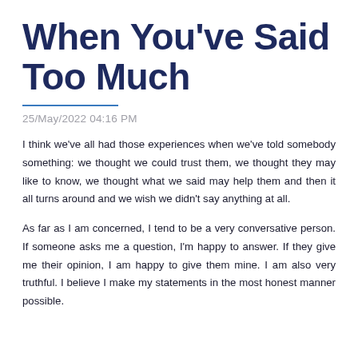When You’ve Said Too Much
25/May/2022 04:16 PM
I think we’ve all had those experiences when we’ve told somebody something: we thought we could trust them, we thought they may like to know, we thought what we said may help them and then it all turns around and we wish we didn’t say anything at all.
As far as I am concerned, I tend to be a very conversative person. If someone asks me a question, I’m happy to answer. If they give me their opinion, I am happy to give them mine. I am also very truthful. I believe I make my statements in the most honest manner possible.